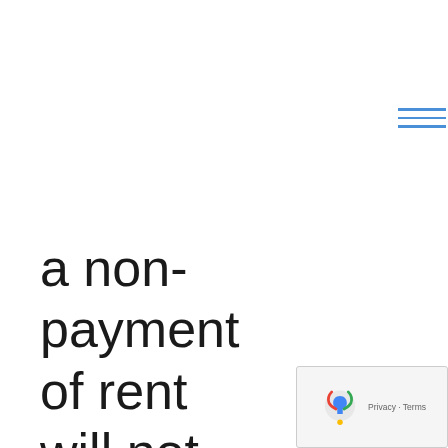[Figure (other): Hamburger menu icon with three horizontal blue lines]
a non-payment of rent will not be a cause to filing an eviction.